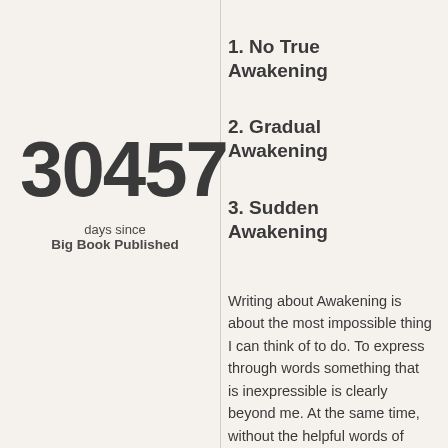30457
days since
Big Book Published
1. No True Awakening
2. Gradual Awakening
3. Sudden Awakening
Writing about Awakening is about the most impossible thing I can think of to do. To express through words something that is inexpressible is clearly beyond me. At the same time, without the helpful words of those who came before me, I would still be laying in my own drunken shit! Maybe these little bread crumbs will help lead someone down